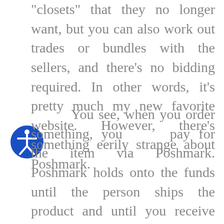“closets” that they no longer want, but you can also work out trades or bundles with the sellers, and there’s no bidding required.  In other words, it’s pretty much my new favorite website.  However, there’s something eerily strange about Poshmark.
You see, when you order something, you pay for the item via Poshmark.  Poshmark holds onto the funds until the person ships the product and until you receive the product.  Once you get the product, you have to go into Poshmark and accept that you’ve received it.  It’s only then that the person gets their money.  Make sense?